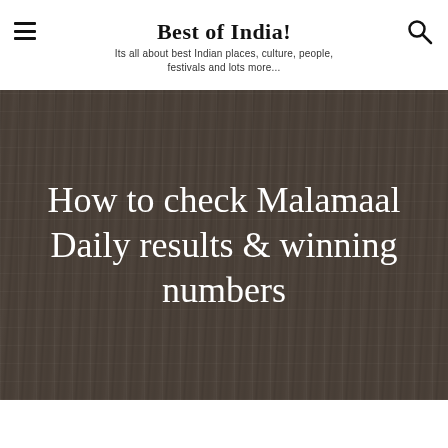Best of India!
Its all about best Indian places, culture, people, festivals and lots more...
How to check Malamaal Daily results & winning numbers